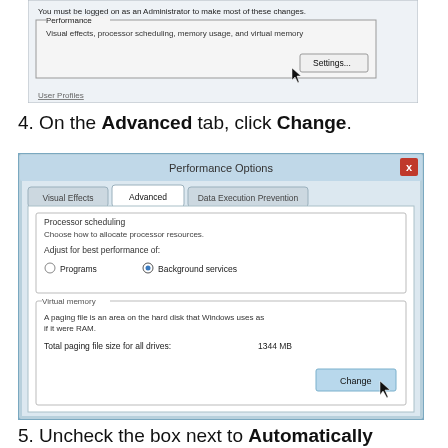[Figure (screenshot): Windows System Properties dialog partial view showing Performance section with Settings button and User Profiles section label, with cursor near Settings button]
4. On the Advanced tab, click Change.
[Figure (screenshot): Windows Performance Options dialog showing Advanced tab with Processor scheduling (Background services selected) and Virtual memory section showing 1344 MB total paging file size, with cursor on Change button]
5. Uncheck the box next to Automatically